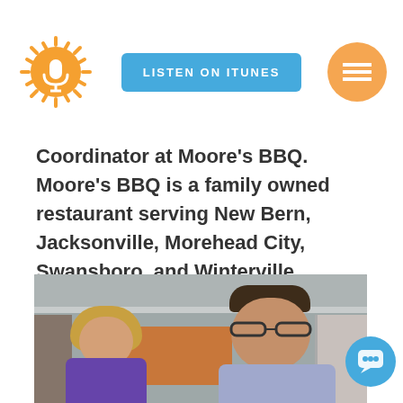Logo / Listen on iTunes / Menu
Coordinator at Moore's BBQ. Moore's BBQ is a family owned restaurant serving New Bern, Jacksonville, Morehead City, Swansboro, and Winterville.
[Figure (photo): Two people smiling for a photo indoors: a woman with blonde hair on the left, and a man with glasses on the right. A decorative map is visible on the wall behind them.]